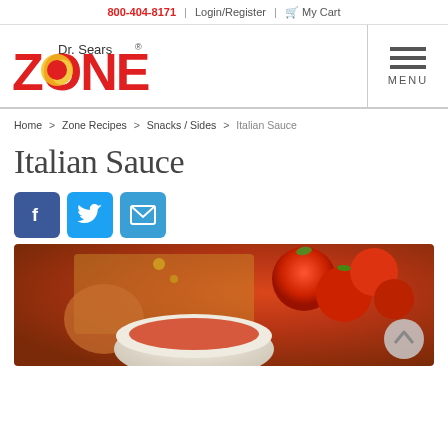800-404-8171 | Login/Register | My Cart
[Figure (logo): Dr. Sears Zone logo with red ZONE text and yellow circle]
MENU
Home > Zone Recipes > Snacks / Sides > Italian Sauce
Italian Sauce
[Figure (infographic): Social share buttons: Facebook, Twitter, Email]
[Figure (photo): Photo of Italian sauce with tomatoes and bowl of sauce]